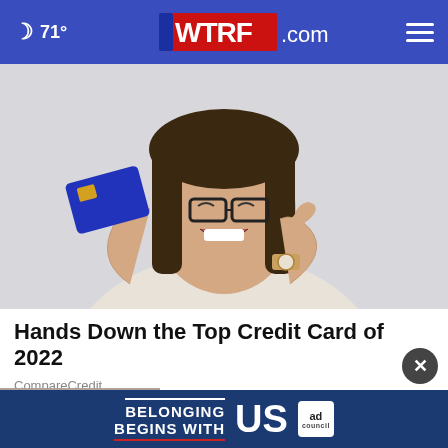🌙 71° | WTRF.com
[Figure (photo): Young woman with glasses smiling and holding up a blue credit card, pointing at it with her other hand. She is wearing a white blouse and a watch.]
Hands Down the Top Credit Card of 2022
CompareCredit
[Figure (infographic): Ad Council banner: 'BELONGING BEGINS WITH US' on dark blue background with Ad Council logo]